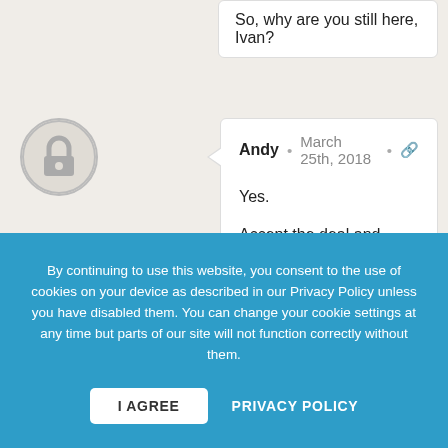So, why are you still here, Ivan?
Andy · March 25th, 2018 · 🔗

Yes.

Accept the deal and leave.

Reject the deal and leave.
➜ Write a reply
By continuing to use this website, you consent to the use of cookies on your device as described in our Privacy Policy unless you have disabled them. You can change your cookie settings at any time but parts of our site will not function correctly without them.
I AGREE   PRIVACY POLICY